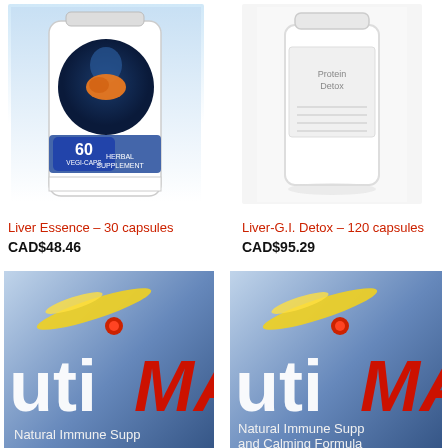[Figure (photo): Liver Essence herbal supplement bottle, 60 vegi-caps, with liver anatomy illustration on label]
[Figure (photo): Liver-G.I. Detox white supplement bottle, 120 capsules]
Liver Essence – 30 capsules
CAD$48.46
Liver-G.I. Detox – 120 capsules
CAD$95.29
[Figure (photo): NutriMax Pediatric Powder natural immune support supplement box, 30 grams]
[Figure (photo): NutriMax Pediatric Powder with L-Theanine natural immune support and calming formula supplement box, 30 grams]